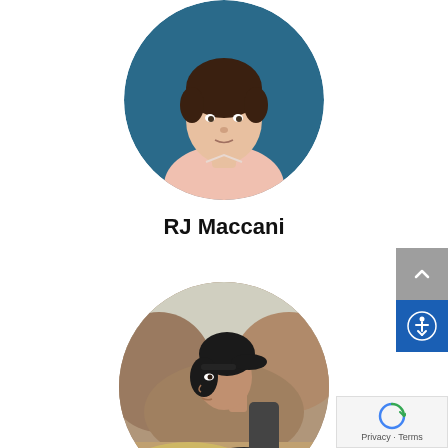[Figure (photo): Circular profile photo of RJ Maccani, a man with dark hair wearing a pink shirt, against a teal/blue background.]
RJ Maccani
[Figure (photo): Circular profile photo of a woman with dark hair in a ponytail, wearing a dark jacket, photographed outdoors near rocky scenery.]
[Figure (screenshot): UI overlay: scroll-to-top button (grey), accessibility icon button (blue), and reCAPTCHA badge with Privacy and Terms links.]